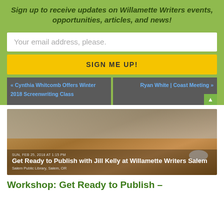Sign up to receive updates on Willamette Writers events, opportunities, articles, and news!
Your email address, please.
SIGN ME UP!
« Cynthia Whitcomb Offers Winter 2018 Screenwriting Class
Ryan White | Coast Meeting »
[Figure (photo): Photo of a laptop, glasses, and computer mouse on a wooden desk, overlaid with event details for 'Get Ready to Publish with Jill Kelly at Willamette Writers Salem']
SUN, FEB 25, 2018 AT 1:15 PM
Get Ready to Publish with Jill Kelly at Willamette Writers Salem
Salem Public Library, Salem, OR
Workshop: Get Ready to Publish –